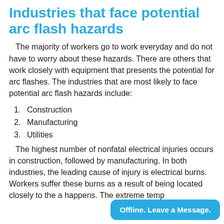Industries that face potential arc flash hazards
The majority of workers go to work everyday and do not have to worry about these hazards. There are others that work closely with equipment that presents the potential for arc flashes. The industries that are most likely to face potential arc flash hazards include:
1. Construction
2. Manufacturing
3. Utilities
The highest number of nonfatal electrical injuries occurs in construction, followed by manufacturing. In both industries, the leading cause of injury is electrical burns. Workers suffer these burns as a result of being located closely to the a... happens. The extreme temp...
Offline. Leave a Message.